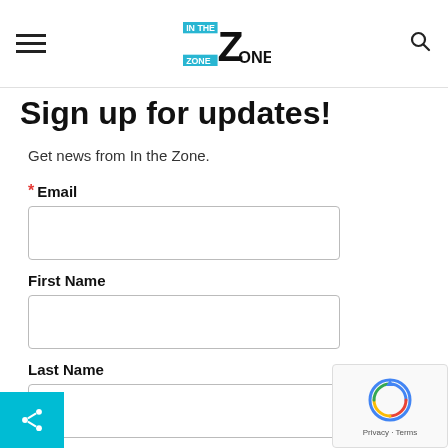In the Zone — Navigation header with hamburger menu and search icon
Sign up for updates!
Get news from In the Zone.
*Email
First Name
Last Name
State/Province